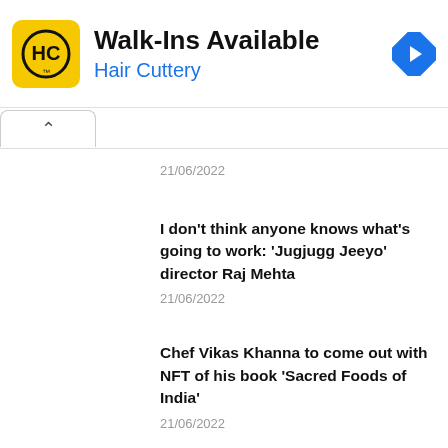[Figure (infographic): Hair Cuttery advertisement banner with yellow square logo showing HC initials, text Walk-Ins Available in bold black, Hair Cuttery in blue, and a blue diamond navigation icon on the right]
21/06/2022
I don't think anyone knows what's going to work: 'Jugjugg Jeeyo' director Raj Mehta
21/06/2022
Chef Vikas Khanna to come out with NFT of his book 'Sacred Foods of India'
21/06/2022
Shah Rukh Khan, Suriya didn't charge a single rupee for 'Rocketry', says R